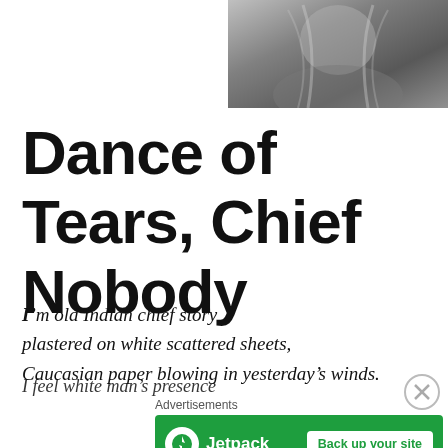[Figure (photo): Black and white photograph of a Native American elder with long grey hair, wearing traditional clothing, partially cropped at top of page]
Dance of Tears, Chief Nobody
I'm old Indian chief story plastered on white scattered sheets, Caucasian paper blowing in yesterday's winds.
I feel white man's presence
Advertisements
[Figure (screenshot): Jetpack advertisement banner: green background with Jetpack logo on left and 'Back up your site' button on right]